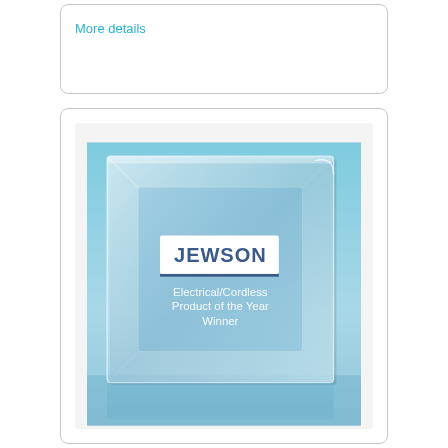More details
[Figure (photo): Glass award trophy with JEWSON logo and text: Electrical/Cordless Product of the Year Winner, on a blue gradient background]